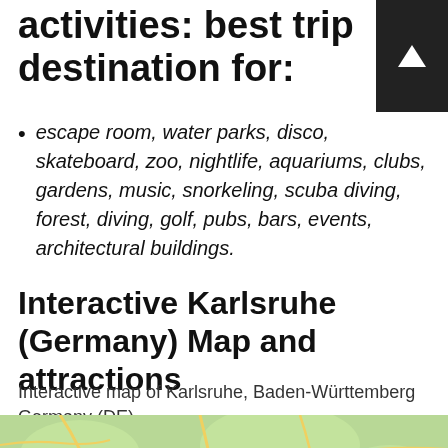activities: best trip destination for:
escape room, water parks, disco, skateboard, zoo, nightlife, aquariums, clubs, gardens, music, snorkeling, scuba diving, forest, diving, golf, pubs, bars, events, architectural buildings.
Interactive Karlsruhe (Germany) Map and attractions
Interactive map of Karlsruhe, Baden-Württemberg Germany (DE).
[Figure (map): Interactive map showing region around Karlsruhe, Baden-Württemberg, Germany, with cities including Koblenz, Frankfurt, Mainz, Trier, Fulda, Würzburg, and highway labels 3, 61, 66, 1, 5, 67 visible.]